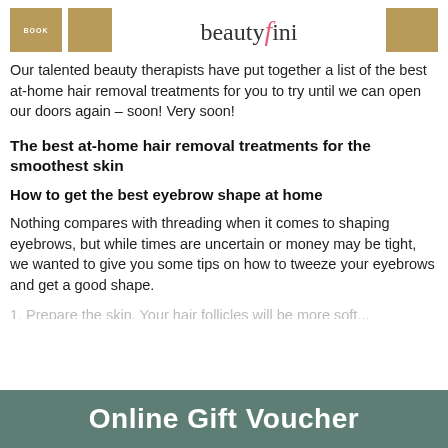[Figure (logo): Beautyfini logo with gold squares and BOOK label, brand name in serif with pink italic f]
Our talented beauty therapists have put together a list of the best at-home hair removal treatments for you to try until we can open our doors again – soon! Very soon!
The best at-home hair removal treatments for the smoothest skin
How to get the best eyebrow shape at home
Nothing compares with threading when it comes to shaping eyebrows, but while times are uncertain or money may be tight, we wanted to give you some tips on how to tweeze your eyebrows and get a good shape.
Online Gift Voucher